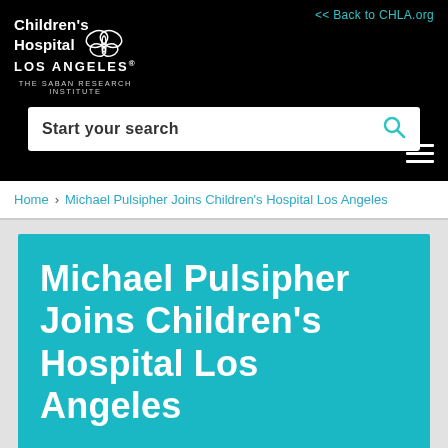[Figure (logo): Children's Hospital Los Angeles – The Saban Research Institute logo with butterfly graphic, white text on black background]
<< Back to CHLA.org
Start your search
Home › Michael Pulsipher Joins Children's Hospital Los Angeles
Michael Pulsipher Joins Children's Hospital Los Angeles